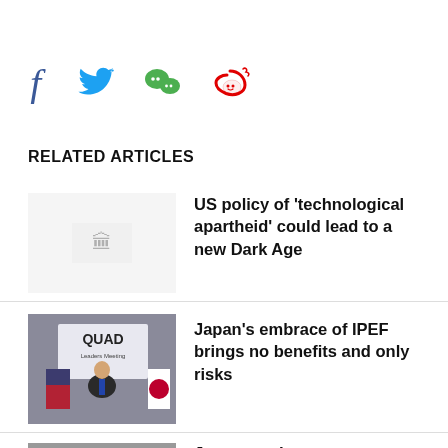[Figure (infographic): Social sharing icons: Facebook, Twitter, WeChat, Weibo]
RELATED ARTICLES
[Figure (photo): Placeholder image with small graphic for technological apartheid article]
US policy of ‘technological apartheid’ could lead to a new Dark Age
[Figure (photo): Photo of Japanese official at QUAD Leaders Meeting podium with US and Japanese flags]
Japan’s embrace of IPEF brings no benefits and only risks
[Figure (photo): Grayscale photo of person for Japan upping ante on Taiwan article]
Japan upping ante on Taiwan